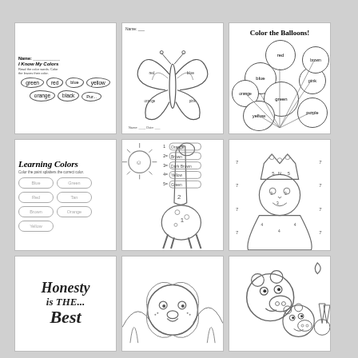[Figure (illustration): Worksheet: I Know My Colors - leaf shapes labeled green, red, blue, yellow, orange, black, purple]
[Figure (illustration): Color by number worksheet with a butterfly drawing]
[Figure (illustration): Color the Balloons worksheet - balloons labeled red, blue, orange, green, pink, brown, yellow, purple]
[Figure (illustration): Learning Colors worksheet with cloud shapes labeled Blue, Green, Red, Brown, Tan, Orange, Yellow]
[Figure (illustration): Color by number giraffe worksheet with sun, color key showing Orange, Brown, Dark Brown, Yellow, Green]
[Figure (illustration): Color by number illustration of a queen/princess with numbers in sections]
[Figure (illustration): Honesty is the Best coloring page with decorative lettering]
[Figure (illustration): Animal coloring page with bear/lion scene]
[Figure (illustration): Peppa Pig coloring page with Peppa Pig and George Pig with moon]